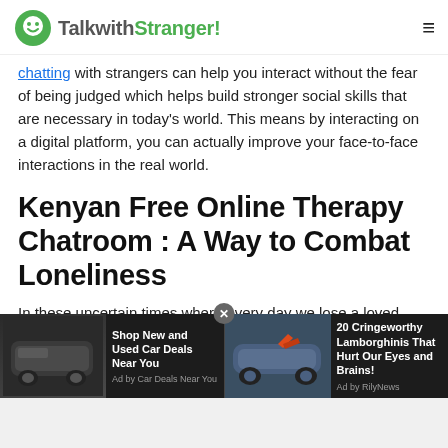TalkwithStranger!
chatting with strangers can help you interact without the fear of being judged which helps build stronger social skills that are necessary in today's world. This means by interacting on a digital platform, you can actually improve your face-to-face interactions in the real world.
Kenyan Free Online Therapy Chatroom : A Way to Combat Loneliness
In these uncertain times where every day we lose a loved one, or someone we know to the deadly coronavirus, it
[Figure (screenshot): Advertisement bar with two ad items: 'Shop New and Used Car Deals Near You' by Car Deals Near You, and '20 Cringeworthy Lamborghinis That Hurt Our Eyes and Brains!' by RilyNews]